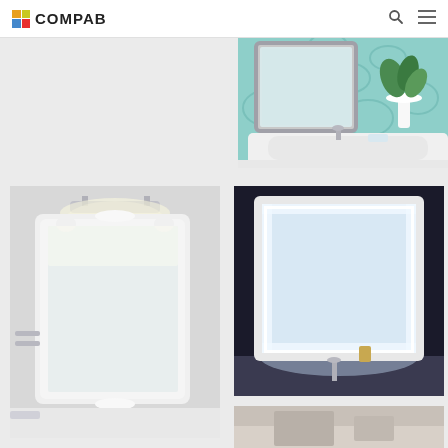COMPAB
[Figure (photo): Bathroom vanity with ornate silver-framed mirror, teal floral wallpaper, white sink/basin, and a potted green plant]
[Figure (photo): White ornate framed bathroom mirror with chrome picture light above it, wall-mounted chrome accessories visible]
[Figure (photo): Illuminated square bathroom mirror with white frame and LED backlight, dark background, faucet below]
[Figure (photo): Partial view of another bathroom scene at bottom of page]